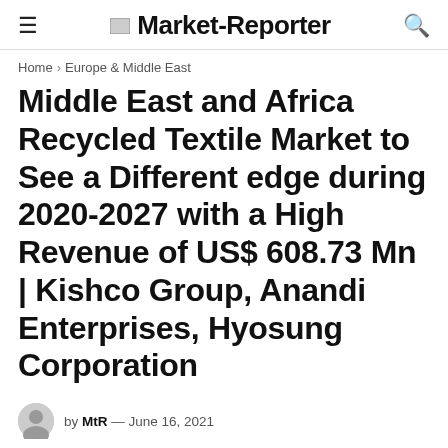Market-Reporter
Home > Europe & Middle East
Middle East and Africa Recycled Textile Market to See a Different edge during 2020-2027 with a High Revenue of US$ 608.73 Mn | Kishco Group, Anandi Enterprises, Hyosung Corporation
by MtR — June 16, 2021